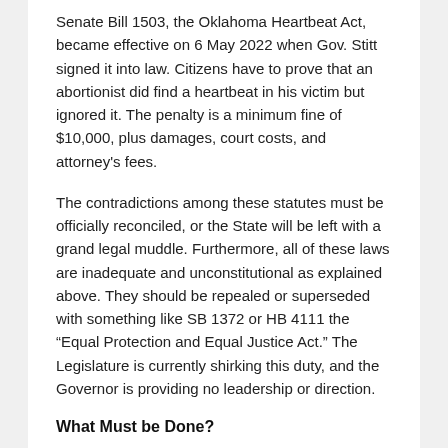Senate Bill 1503, the Oklahoma Heartbeat Act, became effective on 6 May 2022 when Gov. Stitt signed it into law.  Citizens have to prove that an abortionist did find a heartbeat in his victim but ignored it.  The penalty is a minimum fine of $10,000, plus damages, court costs, and attorney's fees.
The contradictions among these statutes must be officially reconciled, or the State will be left with a grand legal muddle.  Furthermore, all of these laws are inadequate and unconstitutional as explained above.  They should be repealed or superseded with something like SB 1372 or HB 4111 the “Equal Protection and Equal Justice Act.”  The Legislature is currently shirking this duty, and the Governor is providing no leadership or direction.
What Must be Done?
When the State of Oklahoma...